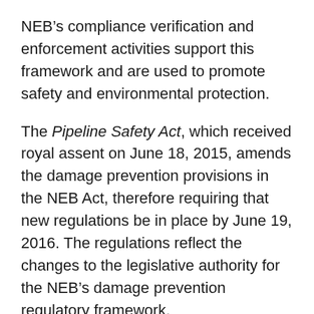NEB’s compliance verification and enforcement activities support this framework and are used to promote safety and environmental protection.
The Pipeline Safety Act, which received royal assent on June 18, 2015, amends the damage prevention provisions in the NEB Act, therefore requiring that new regulations be in place by June 19, 2016. The regulations reflect the changes to the legislative authority for the NEB’s damage prevention regulatory framework.
Regulations